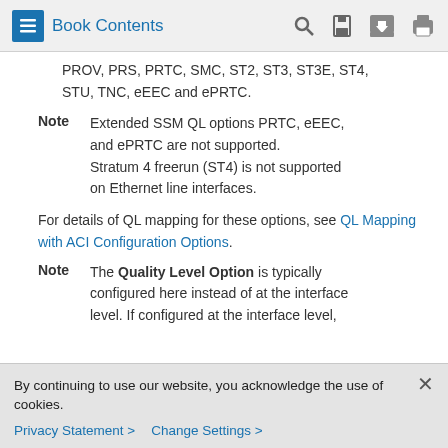Book Contents
PROV, PRS, PRTC, SMC, ST2, ST3, ST3E, ST4, STU, TNC, eEEC and ePRTC.
Note: Extended SSM QL options PRTC, eEEC, and ePRTC are not supported. Stratum 4 freerun (ST4) is not supported on Ethernet line interfaces.
For details of QL mapping for these options, see QL Mapping with ACI Configuration Options.
Note: The Quality Level Option is typically configured here instead of at the interface level. If configured at the interface level,
By continuing to use our website, you acknowledge the use of cookies.
Privacy Statement > Change Settings >